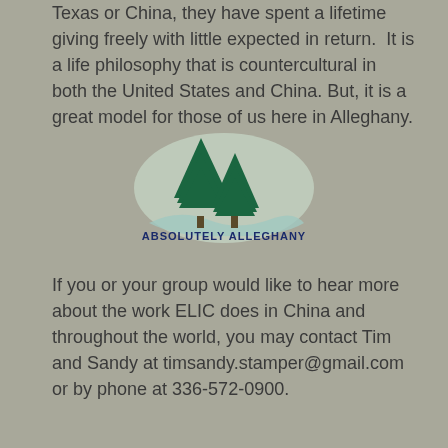Texas or China, they have spent a lifetime giving freely with little expected in return.  It is a life philosophy that is countercultural in both the United States and China. But, it is a great model for those of us here in Alleghany.
[Figure (logo): Absolutely Alleghany logo with two evergreen trees and stylized landscape, text reads ABSOLUTELY ALLEGHANY in bold navy blue]
If you or your group would like to hear more about the work ELIC does in China and throughout the world, you may contact Tim and Sandy at timsandy.stamper@gmail.com or by phone at 336-572-0900.